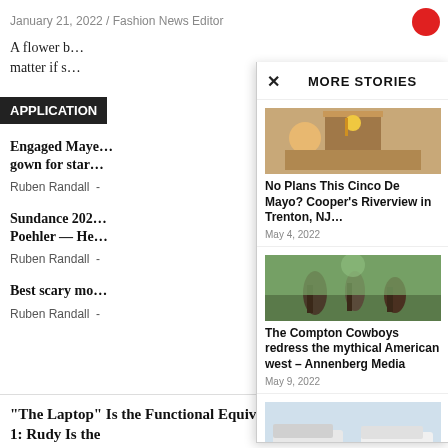January 21, 2022 / Fashion News Editor
A flower b… matter if s…
APPLICATION
Engaged Maya… gown for star…
Ruben Randall -
Sundance 202… Poehler — He…
Ruben Randall -
Best scary mo…
Ruben Randall -
MORE STORIES
[Figure (photo): People celebrating Cinco de Mayo outside a restaurant]
No Plans This Cinco De Mayo? Cooper's Riverview in Trenton, NJ…
May 4, 2022
[Figure (photo): People on horseback, Compton Cowboys parade scene]
The Compton Cowboys redress the mythical American west – Annenberg Media
May 9, 2022
[Figure (photo): Two small pickup trucks (white and grey) side by side]
What's the Best Small Truck?
May 13, 2022
“The Laptop” Is the Functional Equivalent of The Steele Dossier, 1: Rudy Is the